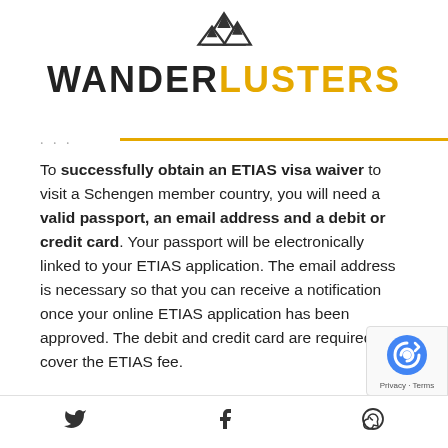[Figure (logo): Wanderlusters logo with mountain peak graphic above the text WANDERLUSTERS in bold, WANDER in dark/black and LUSTERS in yellow/gold]
To successfully obtain an ETIAS visa waiver to visit a Schengen member country, you will need a valid passport, an email address and a debit or credit card. Your passport will be electronically linked to your ETIAS application. The email address is necessary so that you can receive a notification once your online ETIAS application has been approved. The debit and credit card are required to cover the ETIAS fee.

When completing the online application form you...
Twitter | Facebook | WhatsApp